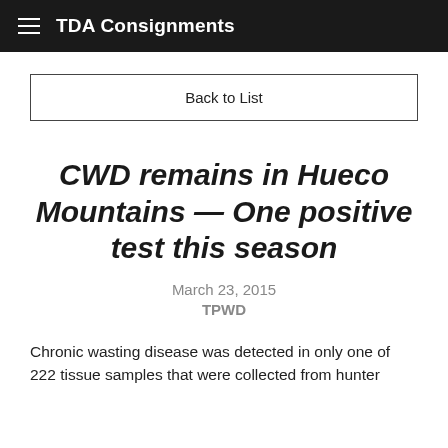TDA Consignments
Back to List
CWD remains in Hueco Mountains — One positive test this season
March 23, 2015
TPWD
Chronic wasting disease was detected in only one of 222 tissue samples that were collected from hunter